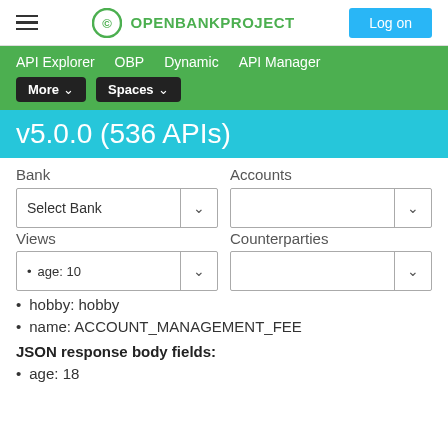OPENBANKPROJECT  Log on
API Explorer  OBP  Dynamic  API Manager  More  Spaces
v5.0.0 (536 APIs)
Bank  Accounts  Select Bank  Views  Counterparties
age: 10
hobby: hobby
name: ACCOUNT_MANAGEMENT_FEE
JSON response body fields:
age: 18